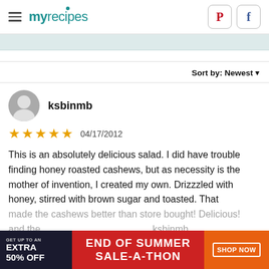myrecipes
Sort by: Newest
ksbinmb
★★★★★  04/17/2012
This is an absolutely delicious salad. I did have trouble finding honey roasted cashews, but as necessity is the mother of invention, I created my own. Drizzzled with honey, stirred with brown sugar and toasted. That made the cashews better than store bought!  Delicious! and the...
[Figure (screenshot): Advertisement banner: GET UP TO AN EXTRA 50% OFF - END OF SUMMER SALE-A-THON - SHOP NOW]